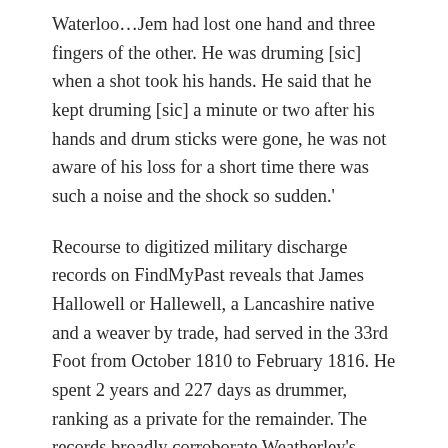Waterloo…Jem had lost one hand and three fingers of the other. He was druming [sic] when a shot took his hands. He said that he kept druming [sic] a minute or two after his hands and drum sticks were gone, he was not aware of his loss for a short time there was such a noise and the shock so sudden.'
Recourse to digitized military discharge records on FindMyPast reveals that James Hallowell or Hallewell, a Lancashire native and a weaver by trade, had served in the 33rd Foot from October 1810 to February 1816. He spent 2 years and 227 days as drummer, ranking as a private for the remainder. The records broadly corroborate Weatherley's account of his battlefield injuries: